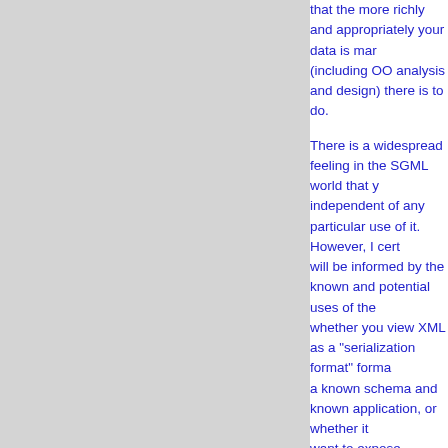that the more richly and appropriately your data is marked up (including OO analysis and design) there is to do.
There is a widespread feeling in the SGML world that your data should be marked up independent of any particular use of it. However, I cert... will be informed by the known and potential uses of the... whether you view XML as a "serialization format" forma... a known schema and known application, or whether it... want to expose interesting and useful information to m... development.
Rick Jelliffe
-----Original Message----- From: owner-xml-dev@ic.ac.uk [mailto:owner-xml-d... Amit Rekhi Sent: Friday, 10 July 1998 23:12 To: XML Mail List Subject: Merging Object Oriented Design and SGM...
Hello,
        Could anyone please guide to articles/techni... SGML Architectures.
        Any help will be greatly appreciated
        Thanx,
AMIT